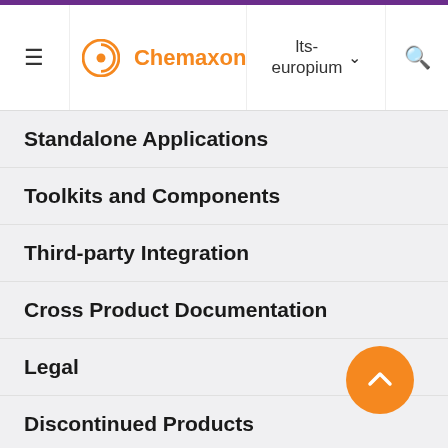Chemaxon | lts-europium navigation menu
Standalone Applications
Toolkits and Components
Third-party Integration
Cross Product Documentation
Legal
Discontinued Products